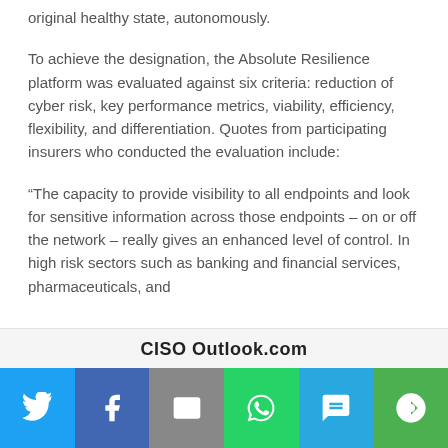original healthy state, autonomously.
To achieve the designation, the Absolute Resilience platform was evaluated against six criteria: reduction of cyber risk, key performance metrics, viability, efficiency, flexibility, and differentiation. Quotes from participating insurers who conducted the evaluation include:
“The capacity to provide visibility to all endpoints and look for sensitive information across those endpoints – on or off the network – really gives an enhanced level of control. In high risk sectors such as banking and financial services, pharmaceuticals, and
CISO Outlook.com